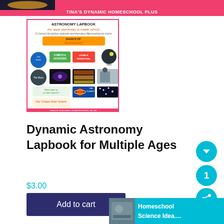[Figure (screenshot): Top banner with 'TINA'S DYNAMIC HOMESCHOOL PLUS' text on pink/red background with astronomy images]
[Figure (illustration): Astronomy Lapbook product cover image - colorful collage showing 'ASTRONOMY LAPBOOK (for upper elementary to middle school)' with photos of planets, stars, comets, moon, solar system, constellations etc. Pink border. TINA'S DYNAMIC HOMESCHOOL PLUS at bottom.]
Dynamic Astronomy Lapbook for Multiple Ages
$3.00
Add to cart
[Figure (screenshot): Bottom right overlay showing 'Homeschool Science Idea...' with teal background and thumbnail photo]